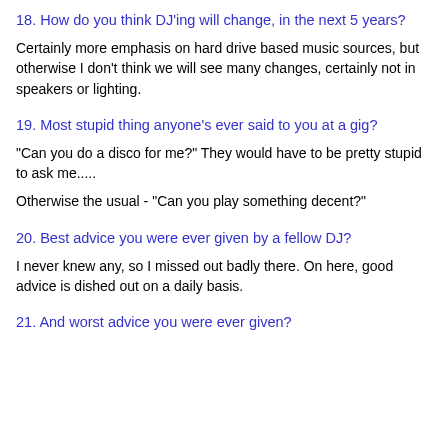18. How do you think DJ'ing will change, in the next 5 years?
Certainly more emphasis on hard drive based music sources, but otherwise I don't think we will see many changes, certainly not in speakers or lighting.
19. Most stupid thing anyone's ever said to you at a gig?
"Can you do a disco for me?" They would have to be pretty stupid to ask me.....
Otherwise the usual - "Can you play something decent?"
20. Best advice you were ever given by a fellow DJ?
I never knew any, so I missed out badly there. On here, good advice is dished out on a daily basis.
21. And worst advice you were ever given?